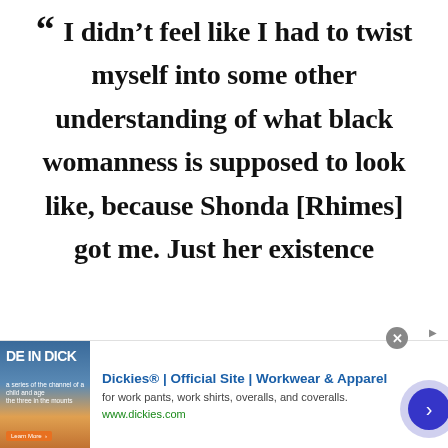“ I didn’t feel like I had to twist myself into some other understanding of what black womanness is supposed to look like, because Shonda [Rhimes] got me. Just her existence
[Figure (other): Advertisement banner for Dickies workwear at the bottom of the page, showing a book cover image on the left, ad copy in the center, and a navigation arrow button on the right.]